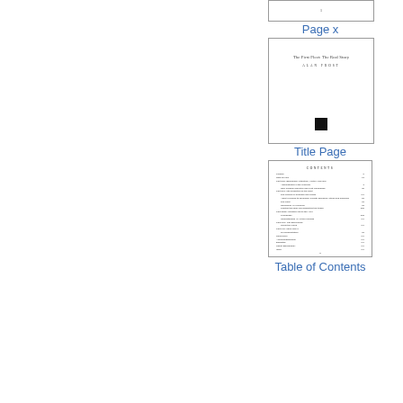[Figure (other): Partial page thumbnail showing page number '1' in a bordered box]
Page x
[Figure (other): Title page thumbnail showing book title 'The First Fleet: The Real Story', author 'ALAN FROST', and a small black square logo at bottom]
Title Page
[Figure (other): Table of Contents page thumbnail showing 'CONTENTS' heading and multiple entries with page numbers]
Table of Contents